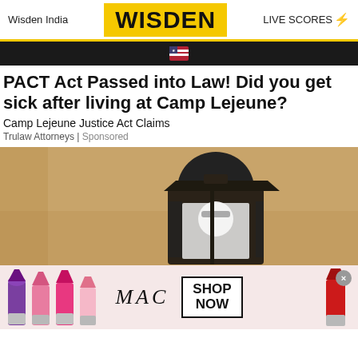Wisden India | WISDEN | LIVE SCORES
PACT Act Passed into Law! Did you get sick after living at Camp Lejeune?
Camp Lejeune Justice Act Claims
Trulaw Attorneys | Sponsored
[Figure (photo): Photo of an outdoor wall-mounted lantern light fixture on a stucco/concrete wall]
[Figure (photo): MAC cosmetics advertisement banner showing lipsticks and MAC logo with SHOP NOW button]